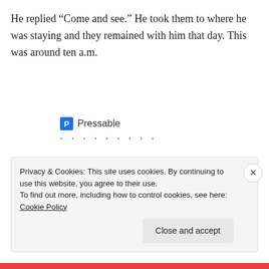He replied “Come and see.” He took them to where he was staying and they remained with him that day. This was around ten a.m.
[Figure (logo): Pressable logo with blue shield icon and dotted separator line]
The Platform Where WordPress Works Best
Privacy & Cookies: This site uses cookies. By continuing to use this website, you agree to their use.
To find out more, including how to control cookies, see here: Cookie Policy
Close and accept